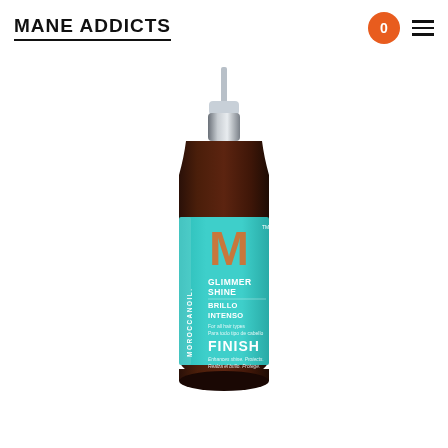MANE ADDICTS
[Figure (photo): Moroccanoil Glimmer Shine Finish spray bottle, 3.4 FL OZ / 100 ml, with teal/turquoise label featuring orange M logo, pump top with silver cap, brown glass bottle.]